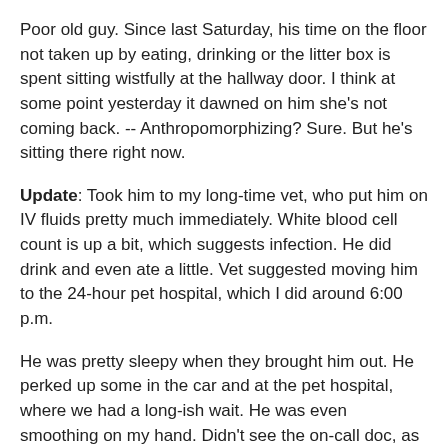Poor old guy. Since last Saturday, his time on the floor not taken up by eating, drinking or the litter box is spent sitting wistfully at the hallway door. I think at some point yesterday it dawned on him she's not coming back. -- Anthropomorphizing? Sure. But he's sitting there right now.
Update: Took him to my long-time vet, who put him on IV fluids pretty much immediately. White blood cell count is up a bit, which suggests infection. He did drink and even ate a little. Vet suggested moving him to the 24-hour pet hospital, which I did around 6:00 p.m.
He was pretty sleepy when they brought him out. He perked up some in the car and at the pet hospital, where we had a long-ish wait. He was even smoothing on my hand. Didn't see the on-call doc, as he was busy.
The vet from the new place called me about an hour later; there's evidence of kidney disease, which could have been masked by thyroid issues. So he's off his thyroid meds for awhile, IV fluids continue and -- we'll see. The vets have all been pretty guarded; Tommy way off the charts for geriatric